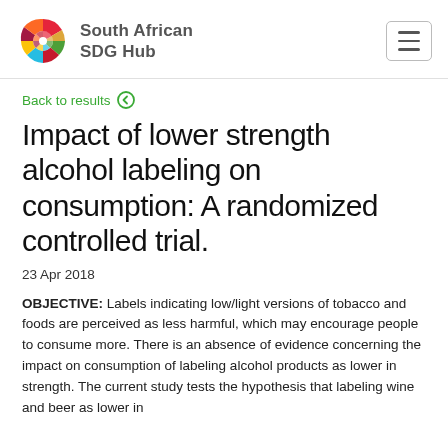South African SDG Hub
Back to results
Impact of lower strength alcohol labeling on consumption: A randomized controlled trial.
23 Apr 2018
OBJECTIVE: Labels indicating low/light versions of tobacco and foods are perceived as less harmful, which may encourage people to consume more. There is an absence of evidence concerning the impact on consumption of labeling alcohol products as lower in strength. The current study tests the hypothesis that labeling wine and beer as lower in